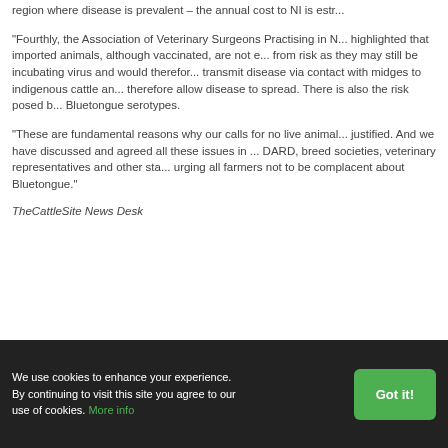region where disease is prevalent – the annual cost to NI is estr...
"Fourthly, the Association of Veterinary Surgeons Practising in N... highlighted that imported animals, although vaccinated, are not e... from risk as they may still be incubating virus and would therefor... transmit disease via contact with midges to indigenous cattle an... therefore allow disease to spread. There is also the risk posed b... Bluetongue serotypes.
"These are fundamental reasons why our calls for no live animal... justified. And we have discussed and agreed all these issues in ... DARD, breed societies, veterinary representatives and other sta... urging all farmers not to be complacent about Bluetongue."
TheCattleSite News Desk
We use cookies to enhance your experience. By continuing to visit this site you agree to our use of cookies. More info